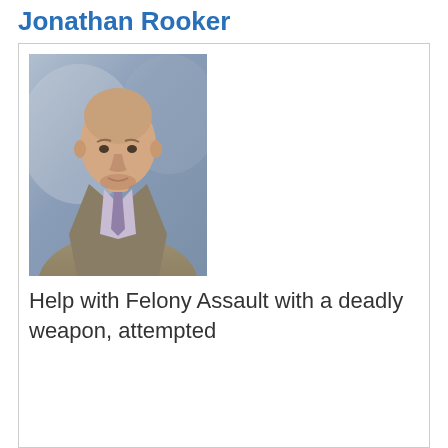Jonathan Rooker
[Figure (photo): Professional headshot of a bald man in a tan pinstripe suit with a purple tie, against a blue-gray studio background.]
Help with Felony Assault with a deadly weapon, attempted